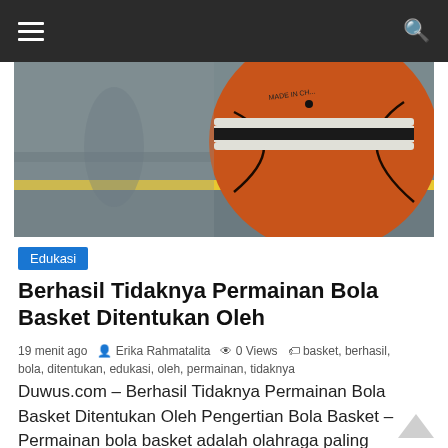☰  🔍
[Figure (photo): Close-up of a basketball on a gymnasium floor with yellow court line and blurred background]
Edukasi
Berhasil Tidaknya Permainan Bola Basket Ditentukan Oleh
19 menit ago  Erika Rahmatalita  0 Views  basket, berhasil, bola, ditentukan, edukasi, oleh, permainan, tidaknya
Duwus.com – Berhasil Tidaknya Permainan Bola Basket Ditentukan Oleh Pengertian Bola Basket – Permainan bola basket adalah olahraga paling populer di